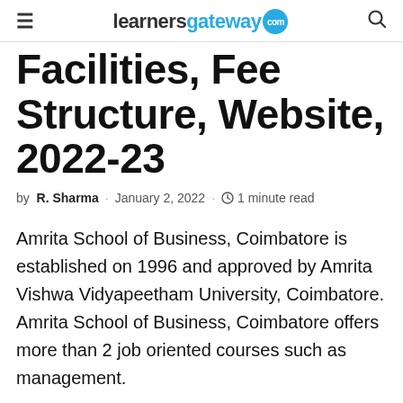learnersgateway.com
Facilities, Fee Structure, Website, 2022-23
by R. Sharma · January 2, 2022 · 1 minute read
Amrita School of Business, Coimbatore is established on 1996 and approved by Amrita Vishwa Vidyapeetham University, Coimbatore. Amrita School of Business, Coimbatore offers more than 2 job oriented courses such as management.